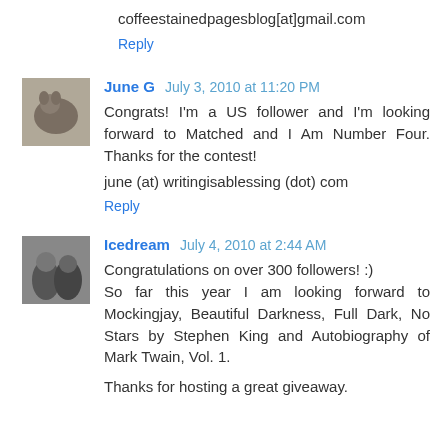coffeestainedpagesblog[at]gmail.com
Reply
June G  July 3, 2010 at 11:20 PM
Congrats! I'm a US follower and I'm looking forward to Matched and I Am Number Four. Thanks for the contest!
june (at) writingisablessing (dot) com
Reply
Icedream  July 4, 2010 at 2:44 AM
Congratulations on over 300 followers! :)
So far this year I am looking forward to Mockingjay, Beautiful Darkness, Full Dark, No Stars by Stephen King and Autobiography of Mark Twain, Vol. 1.
Thanks for hosting a great giveaway.